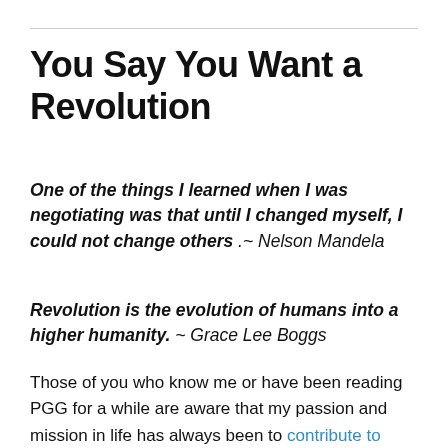You Say You Want a Revolution
One of the things I learned when I was negotiating was that until I changed myself, I could not change others .~ Nelson Mandela
Revolution is the evolution of humans into a higher humanity. ~ Grace Lee Boggs
Those of you who know me or have been reading PGG for a while are aware that my passion and mission in life has always been to contribute to world peace, mostly through my work best expressed in my mantra that personal transformation is the key to social